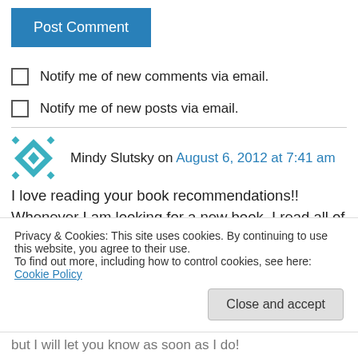[Figure (other): Blue 'Post Comment' button]
Notify me of new comments via email.
Notify me of new posts via email.
Mindy Slutsky on August 6, 2012 at 7:41 am
I love reading your book recommendations!! Whenever I am looking for a new book, I read all of your book blogs over so I can find one! I am
Privacy & Cookies: This site uses cookies. By continuing to use this website, you agree to their use.
To find out more, including how to control cookies, see here: Cookie Policy
but I will let you know as soon as I do!